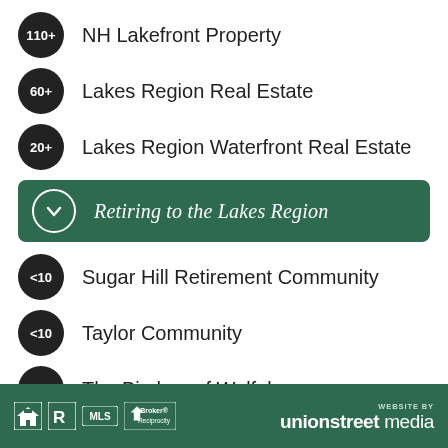110+ NH Lakefront Property
60+ Lakes Region Real Estate
20+ Lakes Region Waterfront Real Estate
Retiring to the Lakes Region
<10 Sugar Hill Retirement Community
<10 Taylor Community
<10 The Birches of Wolfeboro
Website by unionstreet media